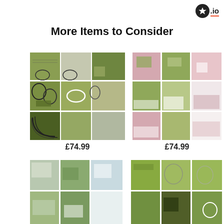[Figure (logo): Star.io logo top right corner]
More Items to Consider
[Figure (photo): Green abstract 9-panel canvas art set with circle motifs, priced at £74.99]
£74.99
[Figure (photo): Pink and green abstract 9-panel canvas art set, priced at £74.99]
£74.99
[Figure (photo): Blue-green and teal abstract multi-panel canvas art, partially visible]
[Figure (photo): Green abstract multi-panel canvas art with circles, partially visible]